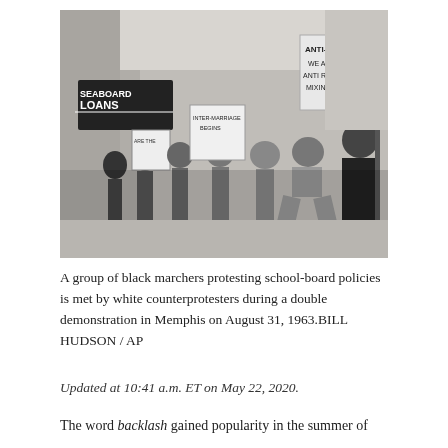[Figure (photo): Black and white photograph of a group of Black marchers protesting school-board policies being met by white counterprotesters during a double demonstration in Memphis on August 31, 1963. People are holding signs including ones reading 'SEABOARD LOANS', 'INTER-MARRIAGE BEGINS', and 'ANTI-NEG... ARE ANTI-RACE MIXING'.]
A group of black marchers protesting school-board policies is met by white counterprotesters during a double demonstration in Memphis on August 31, 1963.BILL HUDSON / AP
Updated at 10:41 a.m. ET on May 22, 2020.
The word backlash gained popularity in the summer of